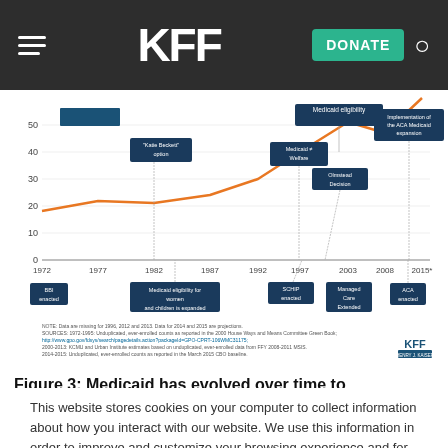KFF — DONATE
[Figure (line-chart): Line chart showing Medicaid enrollment from 1972 to 2015 with annotated policy events including BBI enacted, Katie Beckett option, Medicaid eligibility for women and children expanded, SCHIP enacted, Medicaid ≠ Welfare, Olmstead Decision, Managed Care Extended, Medicaid eligibility (ACA), Implementation of the ACA Medicaid expansion, ACA enacted]
Figure 3: Medicaid has evolved over time to
This website stores cookies on your computer to collect information about how you interact with our website. We use this information in order to improve and customize your browsing experience and for analytics and metrics about our visitors both on this website and other media. To find out more about the cookies we use, see our Privacy Policy.
Accept